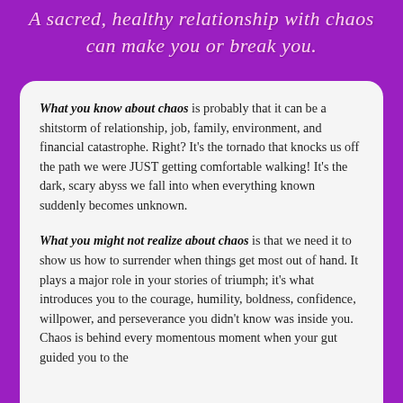A sacred, healthy relationship with chaos can make you or break you.
What you know about chaos is probably that it can be a shitstorm of relationship, job, family, environment, and financial catastrophe. Right? It's the tornado that knocks us off the path we were JUST getting comfortable walking! It's the dark, scary abyss we fall into when everything known suddenly becomes unknown.
What you might not realize about chaos is that we need it to show us how to surrender when things get most out of hand. It plays a major role in your stories of triumph; it's what introduces you to the courage, humility, boldness, confidence, willpower, and perseverance you didn't know was inside you. Chaos is behind every momentous moment when your gut guided you to the